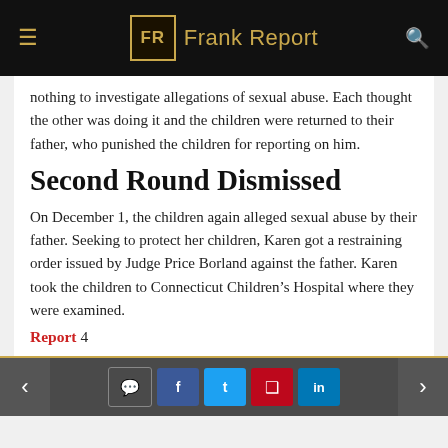Frank Report
nothing to investigate allegations of sexual abuse. Each thought the other was doing it and the children were returned to their father, who punished the children for reporting on him.
Second Round Dismissed
On December 1, the children again alleged sexual abuse by their father. Seeking to protect her children, Karen got a restraining order issued by Judge Price Borland against the father. Karen took the children to Connecticut Children's Hospital where they were examined.
Report 4
Navigation and social share bar